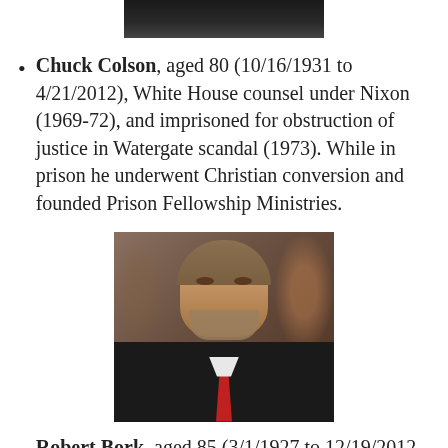[Figure (photo): Partial photo of a person at the top of the page (cropped, showing head/shoulders in dark tones)]
Chuck Colson, aged 80 (10/16/1931 to 4/21/2012), White House counsel under Nixon (1969-72), and imprisoned for obstruction of justice in Watergate scandal (1973). While in prison he underwent Christian conversion and founded Prison Fellowship Ministries.
[Figure (photo): Photo of Robert Bork, an older man with gray-brown curly hair, beard, wearing a dark suit and red tie, looking to the left, with blurred crowd in background]
Robert Bork, aged 85 (3/1/1927 to 12/19/2012, U.S. solicitor general under